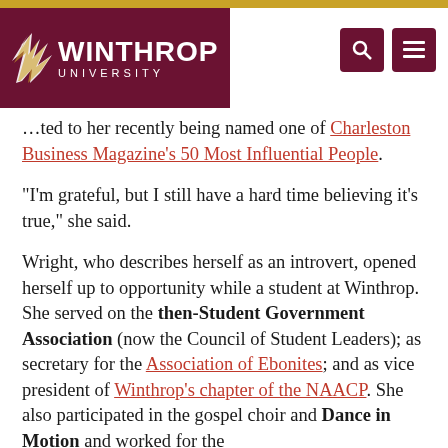[Figure (logo): Winthrop University logo header with dark red background, gold stripe at top, wing icon, and search/menu buttons on right]
…ted to her recently being named one of Charleston Business Magazine's 50 Most Influential People.
"I'm grateful, but I still have a hard time believing it's true," she said.
Wright, who describes herself as an introvert, opened herself up to opportunity while a student at Winthrop. She served on the then-Student Government Association (now the Council of Student Leaders); as secretary for the Association of Ebonites; and as vice president of Winthrop's chapter of the NAACP. She also participated in the gospel choir and Dance in Motion and worked for the